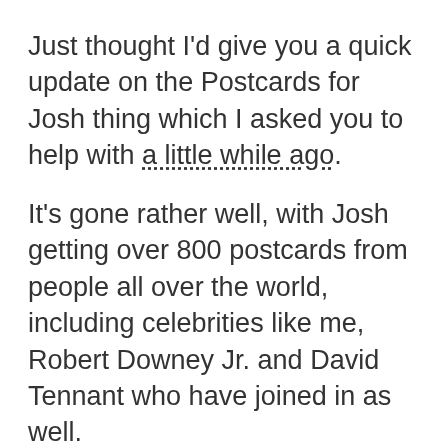Just thought I'd give you a quick update on the Postcards for Josh thing which I asked you to help with a little while ago.
It's gone rather well, with Josh getting over 800 postcards from people all over the world, including celebrities like me, Robert Downey Jr. and David Tennant who have joined in as well.
The programme of intense chemotherapy, which lasts for six months, has left the sports-